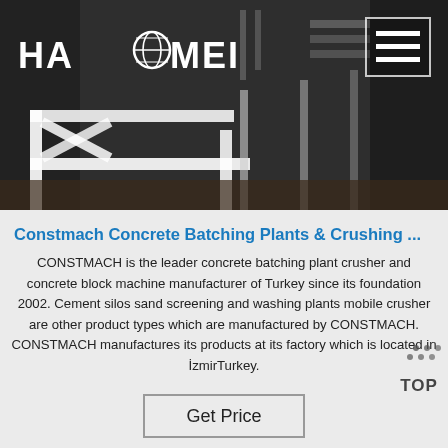[Figure (photo): Hero image showing industrial steel-framed concrete batching plant machinery with dark background. HAOMEI logo with globe icon in top left. Hamburger menu icon (three horizontal lines) in top right with rectangular border.]
Constmach Concrete Batching Plants & Crushing ...
CONSTMACH is the leader concrete batching plant crusher and concrete block machine manufacturer of Turkey since its foundation 2002. Cement silos sand screening and washing plants mobile crusher are other product types which are manufactured by CONSTMACH. CONSTMACH manufactures its products at its factory which is located in İzmirTurkey.
Get Price